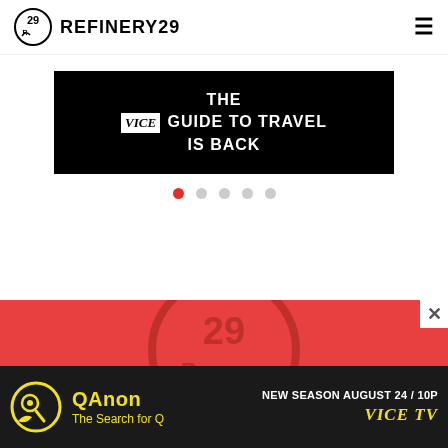REFINERY29
[Figure (screenshot): VICE Guide to Travel advertisement banner - black background with white bold text reading 'THE VICE GUIDE TO TRAVEL IS BACK']
[Figure (infographic): Carousel pagination dots - 5 dots, first one filled red, rest empty circles]
[Figure (screenshot): Red background section with Refinery29 logo watermark]
[Figure (screenshot): QAnon - The Search for Q advertisement banner, black background with yellow text, VICE TV logo, 'NEW SEASON AUGUST 24 / 10P']